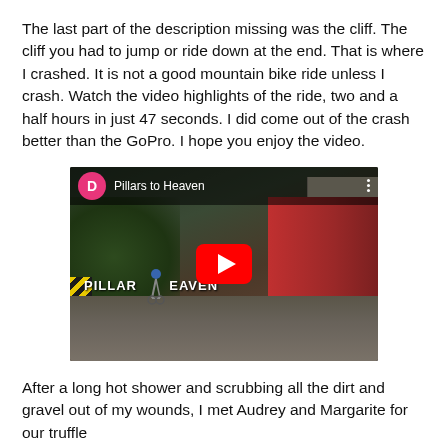The last part of the description missing was the cliff. The cliff you had to jump or ride down at the end. That is where I crashed. It is not a good mountain bike ride unless I crash. Watch the video highlights of the ride, two and a half hours in just 47 seconds. I did come out of the crash better than the GoPro. I hope you enjoy the video.
[Figure (screenshot): Embedded YouTube video thumbnail titled 'Pillars to Heaven' showing a cyclist on a cobblestone street with a red truck and buildings. Features a pink avatar circle with 'D', a red YouTube play button, and text overlay 'PILLARS TO HEAVEN'.]
After a long hot shower and scrubbing all the dirt and gravel out of my wounds, I met Audrey and Margarite for our truffle